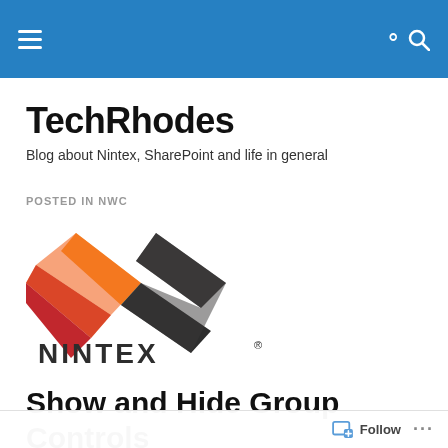TechRhodes — site navigation header bar
TechRhodes
Blog about Nintex, SharePoint and life in general
POSTED IN NWC
[Figure (logo): Nintex logo — orange and dark angular double-chevron mark above the word NINTEX in bold dark lettering]
Show and Hide Group Controls
Using a Choice – Ulti…